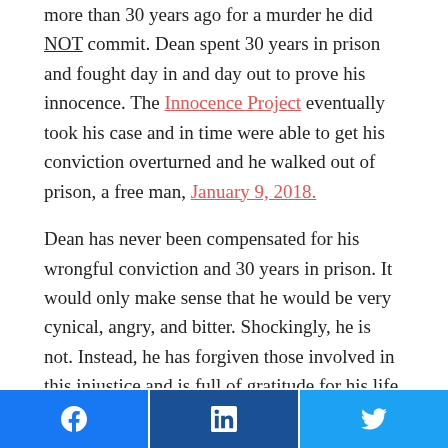more than 30 years ago for a murder he did NOT commit. Dean spent 30 years in prison and fought day in and day out to prove his innocence. The Innocence Project eventually took his case and in time were able to get his conviction overturned and he walked out of prison, a free man, January 9, 2018.
Dean has never been compensated for his wrongful conviction and 30 years in prison. It would only make sense that he would be very cynical, angry, and bitter. Shockingly, he is not. Instead, he has forgiven those involved in this injustice and is full of gratitude for his life and his freedom and is working hard to build a life for himself and his wife
Facebook | LinkedIn | Twitter share buttons